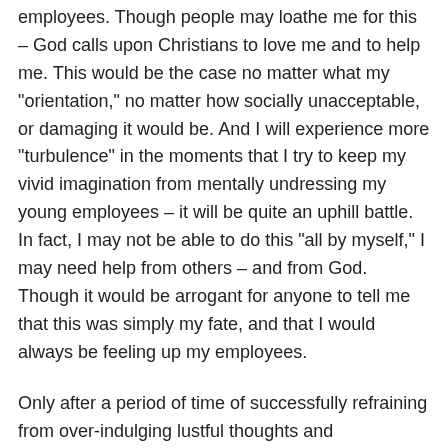employees. Though people may loathe me for this – God calls upon Christians to love me and to help me. This would be the case no matter what my "orientation," no matter how socially unacceptable, or damaging it would be. And I will experience more "turbulence" in the moments that I try to keep my vivid imagination from mentally undressing my young employees – it will be quite an uphill battle. In fact, I may not be able to do this "all by myself," I may need help from others – and from God. Though it would be arrogant for anyone to tell me that this was simply my fate, and that I would always be feeling up my employees.
Only after a period of time of successfully refraining from over-indulging lustful thoughts and